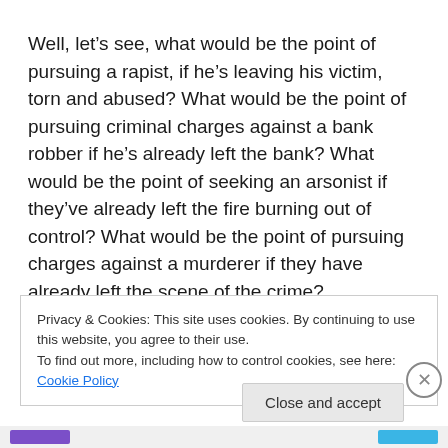Well, let's see, what would be the point of pursuing a rapist, if he's leaving his victim, torn and abused? What would be the point of pursuing criminal charges against a bank robber if he's already left the bank? What would be the point of seeking an arsonist if they've already left the fire burning out of control? What would be the point of pursuing charges against a murderer if they have already left the scene of the crime?
Privacy & Cookies: This site uses cookies. By continuing to use this website, you agree to their use. To find out more, including how to control cookies, see here: Cookie Policy